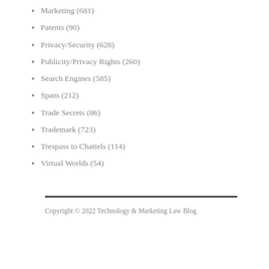Marketing (681)
Patents (90)
Privacy/Security (628)
Publicity/Privacy Rights (260)
Search Engines (585)
Spam (212)
Trade Secrets (86)
Trademark (723)
Trespass to Chattels (114)
Virtual Worlds (54)
Copyright © 2022 Technology & Marketing Law Blog